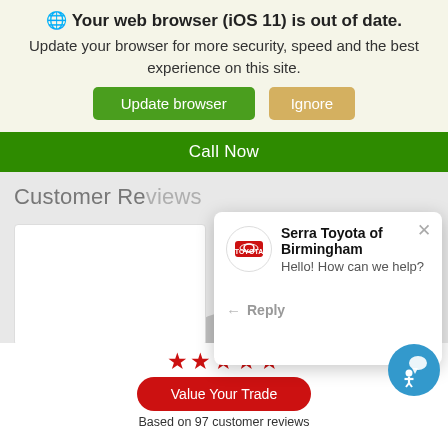🌐 Your web browser (iOS 11) is out of date.
Update your browser for more security, speed and the best experience on this site.
Update browser   Ignore
Call Now
Customer Reviews
[Figure (screenshot): Chat popup from Serra Toyota of Birmingham with Toyota logo, text 'Hello! How can we help?' and a Reply button]
[Figure (infographic): Five red star rating icons above a red 'Value Your Trade' oval button]
Based on 97 customer reviews
[Figure (illustration): Blue accessibility icon circle with person and speech bubble]